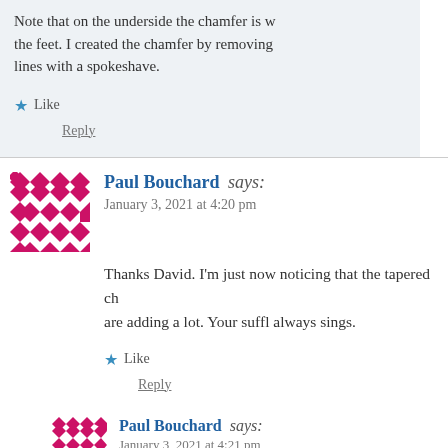Note that on the underside the chamfer is w... the feet. I created the chamfer by removing lines with a spokeshave.
Like
Reply
Paul Bouchard says: January 3, 2021 at 4:20 pm
Thanks David. I'm just now noticing that the tapered c... are adding a lot. Your suffl always sings.
Like
Reply
Paul Bouchard says: January 3, 2021 at 4:21 pm